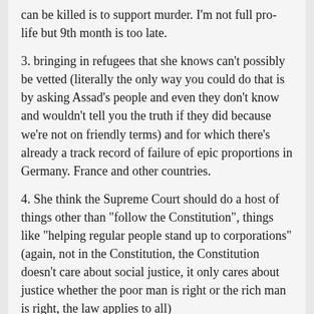can be killed is to support murder. I'm not full pro-life but 9th month is too late.
3. bringing in refugees that she knows can't possibly be vetted (literally the only way you could do that is by asking Assad's people and even they don't know and wouldn't tell you the truth if they did because we're not on friendly terms) and for which there's already a track record of failure of epic proportions in Germany. France and other countries.
4. She think the Supreme Court should do a host of things other than "follow the Constitution", things like "helping regular people stand up to corporations" (again, not in the Constitution, the Constitution doesn't care about social justice, it only cares about justice whether the poor man is right or the rich man is right, the law applies to all)
5. Effective nullification of gun related constitutional...